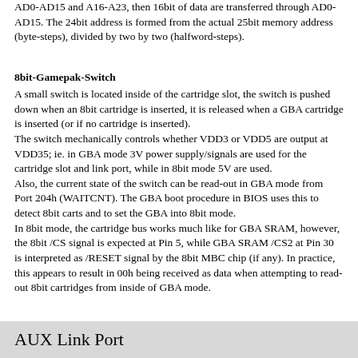AD0-AD15 and A16-A23, then 16bit of data are transferred through AD0-AD15. The 24bit address is formed from the actual 25bit memory address (byte-steps), divided by two by two (halfword-steps).
8bit-Gamepak-Switch
A small switch is located inside of the cartridge slot, the switch is pushed down when an 8bit cartridge is inserted, it is released when a GBA cartridge is inserted (or if no cartridge is inserted).
The switch mechanically controls whether VDD3 or VDD5 are output at VDD35; ie. in GBA mode 3V power supply/signals are used for the cartridge slot and link port, while in 8bit mode 5V are used.
Also, the current state of the switch can be read-out in GBA mode from Port 204h (WAITCNT). The GBA boot procedure in BIOS uses this to detect 8bit carts and to set the GBA into 8bit mode.
In 8bit mode, the cartridge bus works much like for GBA SRAM, however, the 8bit /CS signal is expected at Pin 5, while GBA SRAM /CS2 at Pin 30 is interpreted as /RESET signal by the 8bit MBC chip (if any). In practice, this appears to result in 00h being received as data when attempting to read-out 8bit cartridges from inside of GBA mode.
AUX Link Port